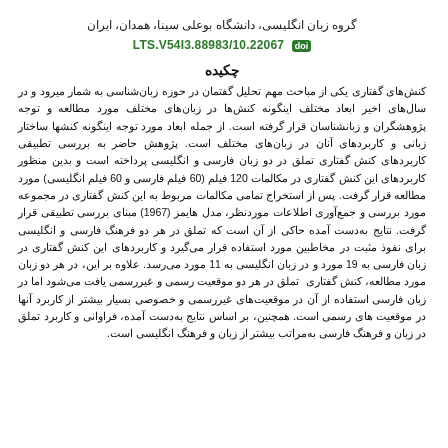گروه زبان انگلیسی، دانشگاه بوعلی سینا، همدان، ایران
10.22067/LTS.V54I3.88983
چکیده
کنش‌های گفتاری یکی از مباحث مهم تحلیل گفتمان در حوزه زبان‌شناسی به شمار میرود و در سال‌های اخیر ابعاد مختلف اینگونه کنش‌ها در زبان‌های مختلف مورد مطالعه و توجه پژوهشگران و زبانشناسان قرار گرفته است. از جمله ابعاد مورد توجه اینگونه کنشها ساختار زبانی و کاربردهای آنان در زبان‌های مختلف است. پژوهش حاضر به بررسی تطبیقی کاربردهای کنش گفتاری تملق در دو زبان فارسی و انگلیسی پرداخته است و بدین منظور کاربردهای این کنش گفتاری در مکالمات 120 فیلم (60 فیلم فارسی و 60 فیلم انگلیسی) مورد مطالعه قرار گرفت. پس از استخراج تمامی مکالمات مربوط به این کنش گفتاری در مجموعه مورد بررسی و جمع‌آوری اطلاعات موردنظر، مدل هایمز (1967) مبنای بررسی تطبیقی قرار گرفت. نتایج به‌دست آمده حاکی از آن است که تملق در هر دو فرهنگ فارسی و انگلیسی برای نفوذ مثبت در مخاطبین مورد استفاده قرار می‌گیرد و کاربردهای این کنش گفتاری در زبان فارسی به 19 مورد و در زبان انگلیسی به 11 مورد می‌رسد. علاوه بر این، در هر دو زبان مورد مطالعه، کنش گفتاری تملق در هر دو موقعیت رسمی و غیررسمی یافت می‌شود اما در زبان فارسی استفاده از آن در موقعیت‌های غیررسمی و خصوصی بسیار بیشتر از کاربرد آنها در موقعیت های رسمی است. همچنین، بر اساس نتایج به‌دست آمده، فراوانی و کاربرد تملق در زبان و فرهنگ فارسی به‌مراتب بیشتر از زبان و فرهنگ انگلیسی است.